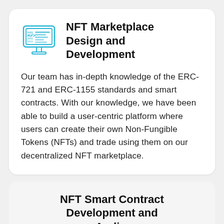[Figure (illustration): Blue line-art icon of a computer monitor displaying code/dashboard elements with a stand]
NFT Marketplace Design and Development
Our team has in-depth knowledge of the ERC-721 and ERC-1155 standards and smart contracts. With our knowledge, we have been able to build a user-centric platform where users can create their own Non-Fungible Tokens (NFTs) and trade using them on our decentralized NFT marketplace.
NFT Smart Contract Development and Auditing